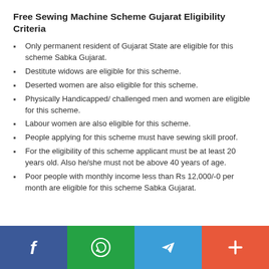Free Sewing Machine Scheme Gujarat Eligibility Criteria
Only permanent resident of Gujarat State are eligible for this scheme Sabka Gujarat.
Destitute widows are eligible for this scheme.
Deserted women are also eligible for this scheme.
Physically Handicapped/ challenged men and women are eligible for this scheme.
Labour women are also eligible for this scheme.
People applying for this scheme must have sewing skill proof.
For the eligibility of this scheme applicant must be at least 20 years old. Also he/she must not be above 40 years of age.
Poor people with monthly income less than Rs 12,000/-0 per month are eligible for this scheme Sabka Gujarat.
[Figure (infographic): Social share buttons bar: Facebook (blue), WhatsApp (green), Telegram (blue), More/Plus (orange-red)]